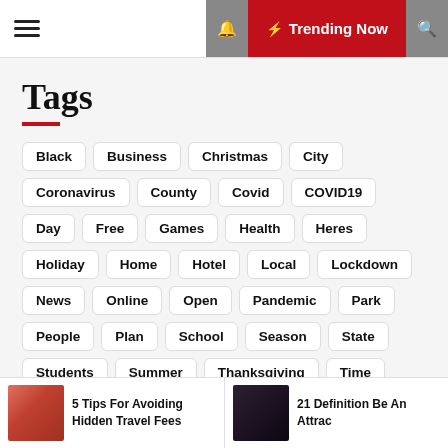☰  🔔 Trending Now 🔍
Tags
Black
Business
Christmas
City
Coronavirus
County
Covid
COVID19
Day
Free
Games
Health
Heres
Holiday
Home
Hotel
Local
Lockdown
News
Online
Open
Pandemic
Park
People
Plan
School
Season
State
Students
Summer
Thanksgiving
Time
Top
Travel
Trump
Vacation
Vaccine
Virtual
Virus
Watch
Ways
Week
5 Tips For Avoiding Hidden Travel Fees
21 Definition Be An Attrac